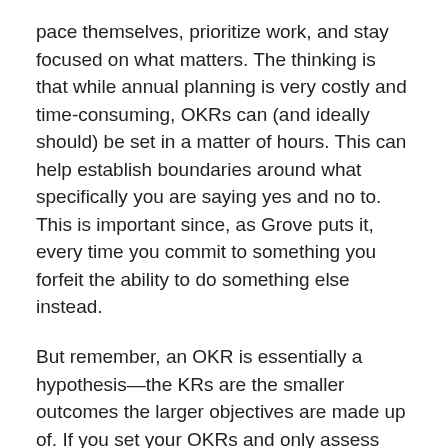pace themselves, prioritize work, and stay focused on what matters. The thinking is that while annual planning is very costly and time-consuming, OKRs can (and ideally should) be set in a matter of hours. This can help establish boundaries around what specifically you are saying yes and no to. This is important since, as Grove puts it, every time you commit to something you forfeit the ability to do something else instead.
But remember, an OKR is essentially a hypothesis—the KRs are the smaller outcomes the larger objectives are made up of. If you set your OKRs and only assess them every quarter, like most people do…that's not very agile. And I don't mean fast.
A tricycle is more agile than a bullet train.
Agility is about having the degrees of freedom left to